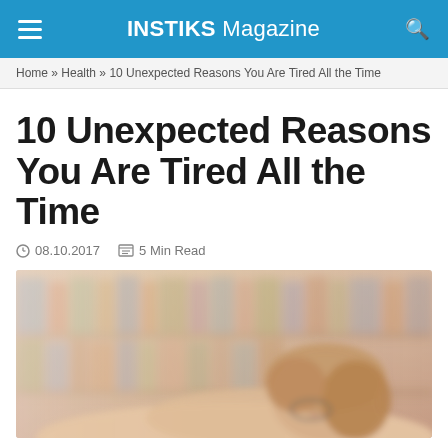INSTIKS Magazine
Home » Health » 10 Unexpected Reasons You Are Tired All the Time
10 Unexpected Reasons You Are Tired All the Time
08.10.2017   5 Min Read
[Figure (photo): A young woman with glasses resting her head on her arms, appearing tired or asleep, with a blurred bookshelf in the background.]